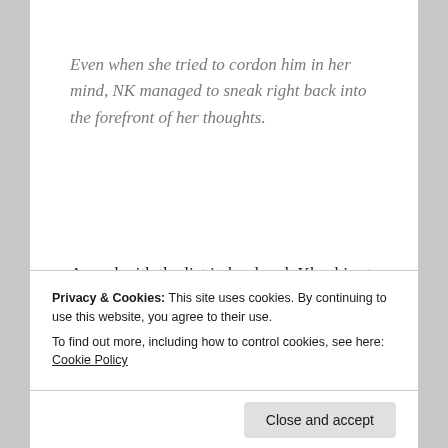Even when she tried to cordon him in her mind, NK managed to sneak right back into the forefront of her thoughts.
Armed with the list in her hand, Khushi set out to distract her grief-stricken mind to the task, preparing for another ‘first’, in a series of firsts without NK. Soon Mira and Manorama joined
Privacy & Cookies: This site uses cookies. By continuing to use this website, you agree to their use.
To find out more, including how to control cookies, see here: Cookie Policy
signs of getting ready for their trip and the